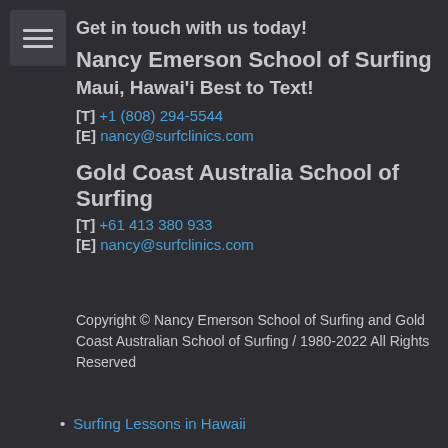Get in touch with us today!
Nancy Emerson School of Surfing
Maui, Hawai'i Best to Text!
[T] +1 (808) 294-5544
[E] nancy@surfclinics.com
Gold Coast Australia School of Surfing
[T] +61 413 380 933
[E] nancy@surfclinics.com
Copyright © Nancy Emerson School of Surfing and Gold Coast Australian School of Surfing / 1980-2022 All Rights Reserved
Surfing Lessons in Hawaii